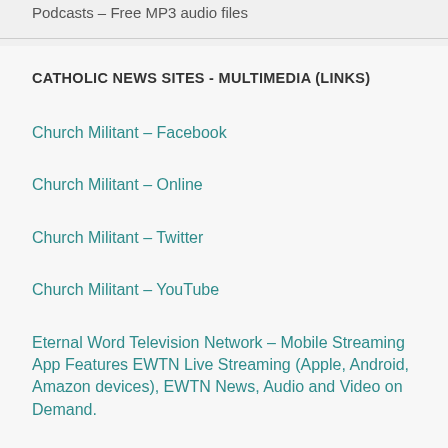Podcasts – Free MP3 audio files
CATHOLIC NEWS SITES - MULTIMEDIA (LINKS)
Church Militant – Facebook
Church Militant – Online
Church Militant – Twitter
Church Militant – YouTube
Eternal Word Television Network – Mobile Streaming App Features EWTN Live Streaming (Apple, Android, Amazon devices), EWTN News, Audio and Video on Demand.